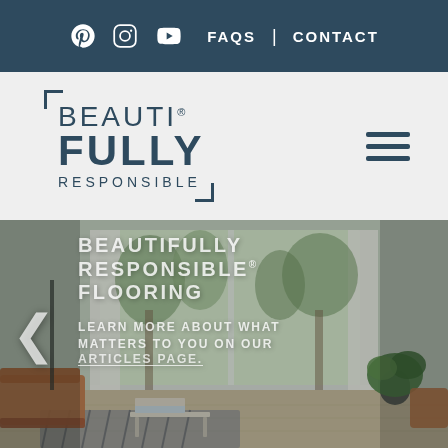Pinterest | Instagram | YouTube | FAQS | CONTACT
BEAUTIFULLY RESPONSIBLE
[Figure (photo): Hero image of a bright living room with large windows, cream curtains, hardwood flooring, a leather sofa, potted plants, and a white coffee table. Overlaid text reads: BEAUTIFULLY RESPONSIBLE® FLOORING — LEARN MORE ABOUT WHAT MATTERS TO YOU ON OUR ARTICLES PAGE.]